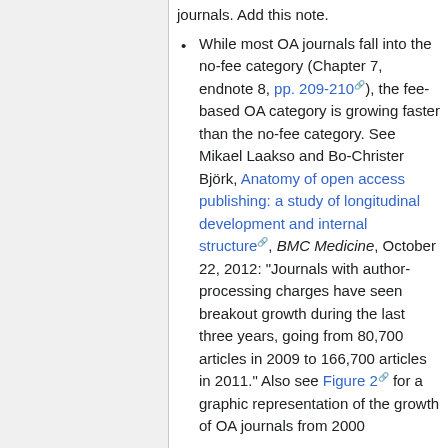journals. Add this note.
While most OA journals fall into the no-fee category (Chapter 7, endnote 8, pp. 209-210), the fee-based OA category is growing faster than the no-fee category. See Mikael Laakso and Bo-Christer Björk, Anatomy of open access publishing: a study of longitudinal development and internal structure, BMC Medicine, October 22, 2012: "Journals with author-processing charges have seen breakout growth during the last three years, going from 80,700 articles in 2009 to 166,700 articles in 2011." Also see Figure 2 for a graphic representation of the growth of OA journals from 2000